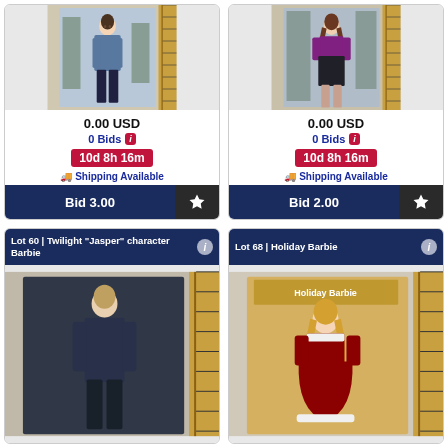[Figure (photo): Twilight Edward character Barbie doll in packaging with ruler background]
0.00 USD
0 Bids
10d 8h 16m
Shipping Available
Bid 3.00
[Figure (photo): Twilight Bella character Barbie doll in packaging with ruler background]
0.00 USD
0 Bids
10d 8h 16m
Shipping Available
Bid 2.00
Lot 60 | Twilight "Jasper" character Barbie
[Figure (photo): Twilight Jasper character Barbie doll in dark packaging with ruler]
Lot 68 | Holiday Barbie
[Figure (photo): Holiday Barbie in red dress in box packaging]